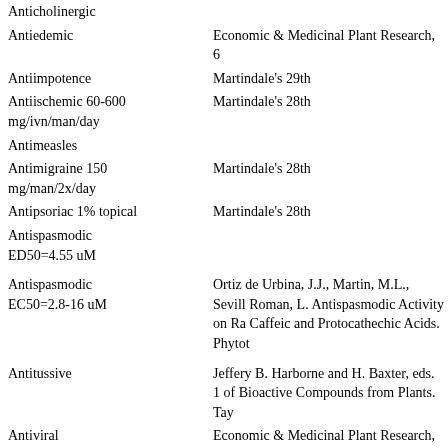| Activity | Reference |
| --- | --- |
| Anticholinergic |  |
| Antiedemic | Economic & Medicinal Plant Research, 6 |
| Antiimpotence | Martindale's 29th |
| Antiischemic 60-600 mg/ivn/man/day | Martindale's 28th |
| Antimeasles |  |
| Antimigraine 150 mg/man/2x/day | Martindale's 28th |
| Antipsoriac 1% topical | Martindale's 28th |
| Antispasmodic ED50=4.55 uM |  |
| Antispasmodic EC50=2.8-16 uM | Ortiz de Urbina, J.J., Martin, M.L., Sevill Roman, L. Antispasmodic Activity on Ra Caffeic and Protocathechic Acids. Phytot |
| Antitussive | Jeffery B. Harborne and H. Baxter, eds. 1 of Bioactive Compounds from Plants. Tay |
| Antiviral | Economic & Medicinal Plant Research, 6 |
| Arteriodilator |  |
| Calcium-Antagonist gpg |  |
| Cardiovascular 100 mg/kg orl mus | Borchard, R. E., Barnes, C. D., and Elthe Animals: A Handbook. (3rd Ed.) The Telf 07006. |